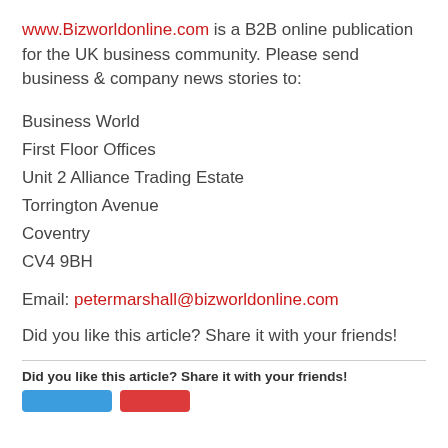www.Bizworldonline.com is a B2B online publication for the UK business community. Please send business & company news stories to:
Business World
First Floor Offices
Unit 2 Alliance Trading Estate
Torrington Avenue
Coventry
CV4 9BH
Email: petermarshall@bizworldonline.com
Did you like this article? Share it with your friends!
Did you like this article? Share it with your friends!